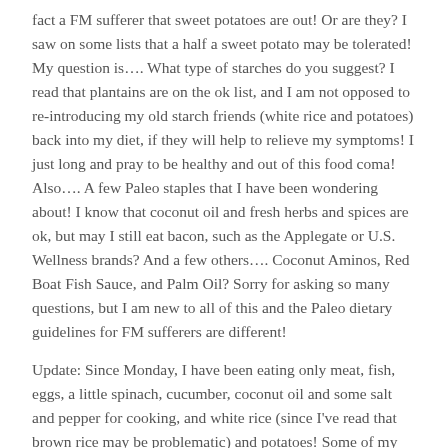fact a FM sufferer that sweet potatoes are out! Or are they? I saw on some lists that a half a sweet potato may be tolerated! My question is…. What type of starches do you suggest? I read that plantains are on the ok list, and I am not opposed to re-introducing my old starch friends (white rice and potatoes) back into my diet, if they will help to relieve my symptoms! I just long and pray to be healthy and out of this food coma! Also…. A few Paleo staples that I have been wondering about! I know that coconut oil and fresh herbs and spices are ok, but may I still eat bacon, such as the Applegate or U.S. Wellness brands? And a few others…. Coconut Aminos, Red Boat Fish Sauce, and Palm Oil? Sorry for asking so many questions, but I am new to all of this and the Paleo dietary guidelines for FM sufferers are different!
Update: Since Monday, I have been eating only meat, fish, eggs, a little spinach, cucumber, coconut oil and some salt and pepper for cooking, and white rice (since I've read that brown rice may be problematic) and potatoes! Some of my bloating has already gone down but the morning after eating my first potato, I woke up with body aches and a stiff neck! I'm sure this